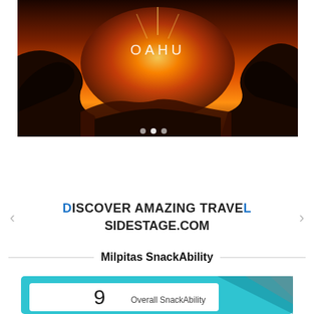[Figure (photo): Sunset landscape photo of Oahu — rocky cliffs silhouetted against a dramatic orange and red sky with the word OAHU overlaid in white text]
DISCOVER AMAZING TRAVEL
SIDESTAGE.COM
Milpitas SnackAbility
[Figure (infographic): Teal/cyan card with white inner box showing the number 9 and label 'Overall SnackAbility'. Decorative angular shapes in top-right corner.]